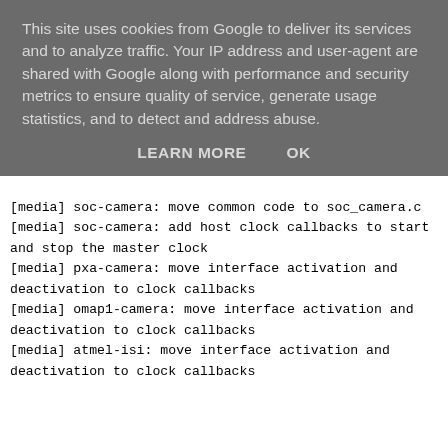This site uses cookies from Google to deliver its services and to analyze traffic. Your IP address and user-agent are shared with Google along with performance and security metrics to ensure quality of service, generate usage statistics, and to detect and address abuse.
LEARN MORE    OK
[media] soc-camera: move common code to soc_camera.c
[media] soc-camera: add host clock callbacks to start and stop the master clock
[media] pxa-camera: move interface activation and deactivation to clock callbacks
[media] omap1-camera: move interface activation and deactivation to clock callbacks
[media] atmel-isi: move interface activation and deactivation to clock callbacks